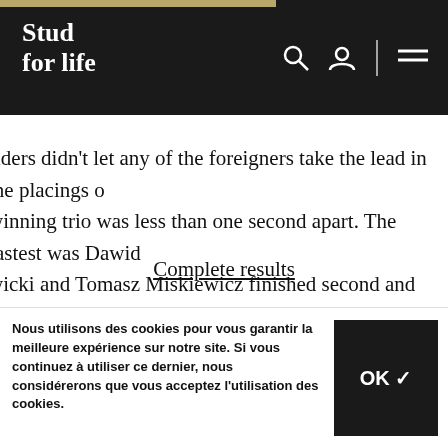Stud for life
riders didn't let any of the foreigners take the lead in the placings of... winning trio was less than one second apart. The fastest was Dawid... wicki and Tomasz Miskiewicz finished second and third respective...
Complete results
Barcelona, Ismael Garcia Roque and La Costa (Gitano V Berkenb... rio facilities where the Spanish Championship was held this weeke... g their title. Indeed, since 2019 the AM Horses stables, of which th... was D... Aanocco thes Caps last year. The true fl...
Nous utilisons des cookies pour vous garantir la meilleure expérience sur notre site. Si vous continuez à utiliser ce dernier, nous considérerons que vous acceptez l'utilisation des cookies.